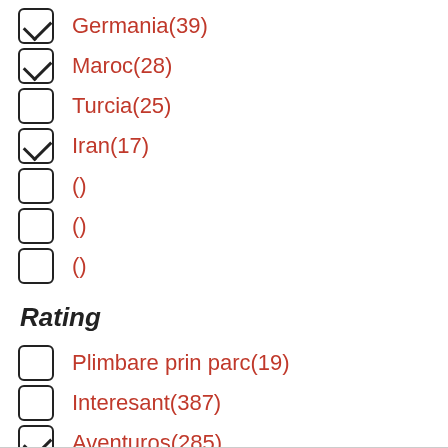Germania(39) [checked]
Maroc(28) [checked]
Turcia(25) [unchecked]
Iran(17) [checked]
() [unchecked]
() [unchecked]
() [unchecked]
Rating
Plimbare prin parc(19) [unchecked]
Interesant(387) [unchecked]
Aventuros(285) [checked]
Epic(61) [checked]